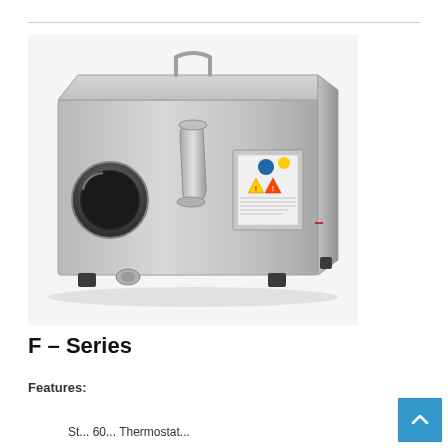[Figure (photo): F-Series industrial stainless steel unit with circular duct opening on the left side, curved spout fitting, control panel with warning labels, and rubber feet, photographed on white background.]
F – Series
Features:
St... 60... Thermostat...